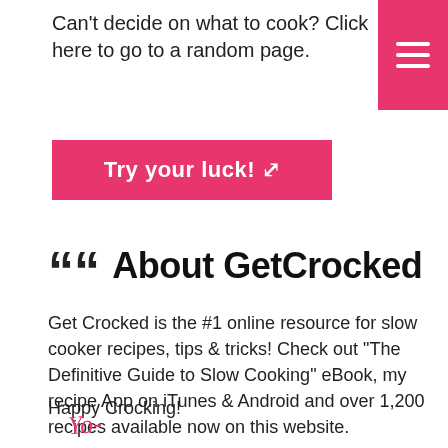Can't decide on what to cook? Click here to go to a random page.
[Figure (other): Pink hamburger menu icon button in top-right corner]
[Figure (other): Pink button with white bold text 'Try your luck!' and shuffle icon]
“” About GetCrocked
Get Crocked is the #1 online resource for slow cooker recipes, tips & tricks! Check out "The Definitive Guide to Slow Cooking" eBook, my recipe App on iTunes & Android and over 1,200 recipes available now on this website.

Happy Crocking!
[Figure (other): Handwritten signature in pink/red cursive 'Yo-']